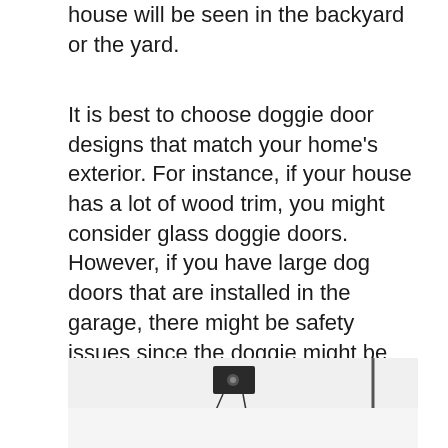house will be seen in the backyard or the yard.
It is best to choose doggie door designs that match your home’s exterior. For instance, if your house has a lot of wood trim, you might consider glass doggie doors. However, if you have large dog doors that are installed in the garage, there might be safety issues since the doggie might be able to squeeze through them. Some pet owners prefer doggie doors that open directly onto the patio or deck. If you have decking around your house, consider getting extra large dog doors that are designed to fit over a screened lanai.
[Figure (photo): A photo of a doggie door installation, showing parts of the door hardware on a light-colored surface.]